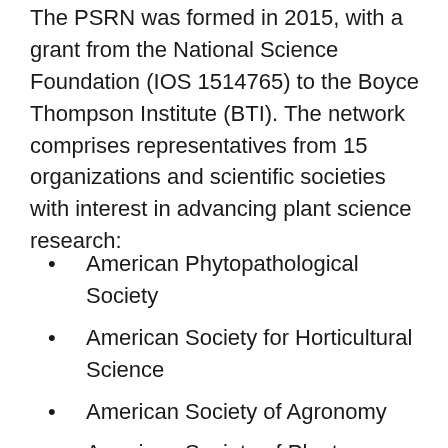The PSRN was formed in 2015, with a grant from the National Science Foundation (IOS 1514765) to the Boyce Thompson Institute (BTI). The network comprises representatives from 15 organizations and scientific societies with interest in advancing plant science research:
American Phytopathological Society
American Society for Horticultural Science
American Society of Agronomy
American Society of Plant Biologists
American Society of Plant Taxonomists
Association of Independent Plant